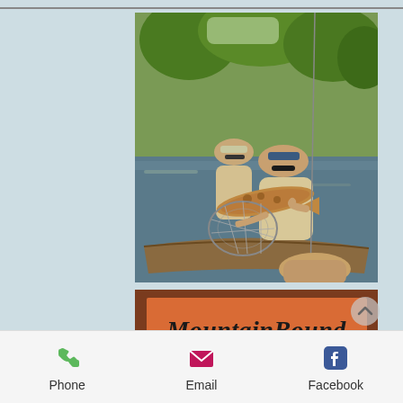[Figure (photo): Two men in a fishing boat on a river, one holding a large trout fish with a landing net visible, trees in background, sunny day]
MountainBound
Phone
Email
Facebook